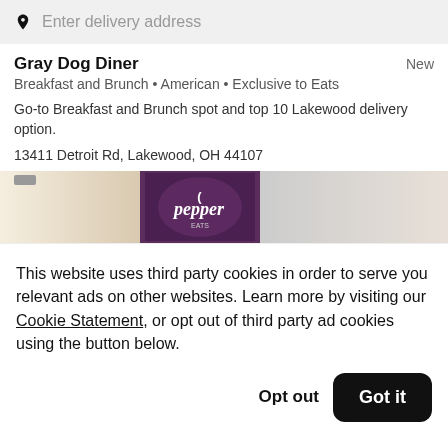Enter delivery address
Gray Dog Diner
New
Breakfast and Brunch • American • Exclusive to Eats
Go-to Breakfast and Brunch spot and top 10 Lakewood delivery option.
13411 Detroit Rd, Lakewood, OH 44107
[Figure (photo): Food image strip showing a blurred beverage on the left, a Dr Pepper cup in the center, and a blurred white item on the right]
This website uses third party cookies in order to serve you relevant ads on other websites. Learn more by visiting our Cookie Statement, or opt out of third party ad cookies using the button below.
Opt out
Got it